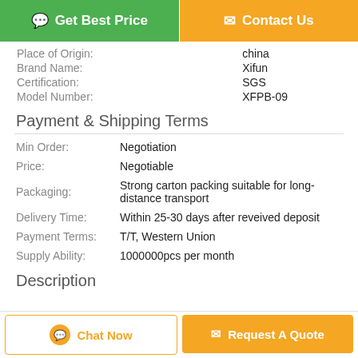[Figure (other): Two top buttons: green 'Get Best Price' button and orange 'Contact Us' button]
| Place of Origin: | china |
| Brand Name: | Xifun |
| Certification: | SGS |
| Model Number: | XFPB-09 |
Payment & Shipping Terms
| Min Order: | Negotiation |
| Price: | Negotiable |
| Packaging: | Strong carton packing suitable for long-distance transport |
| Delivery Time: | Within 25-30 days after reveived deposit |
| Payment Terms: | T/T, Western Union |
| Supply Ability: | 1000000pcs per month |
Description
[Figure (other): Two bottom buttons: 'Chat Now' and 'Request A Quote']